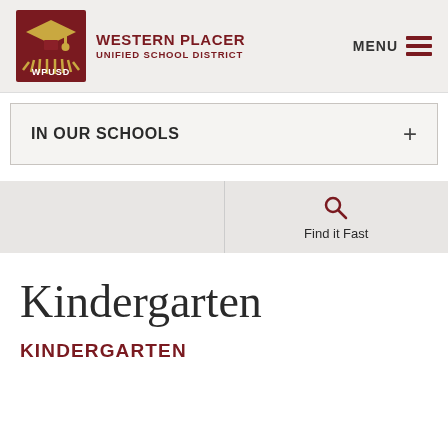[Figure (logo): Western Placer Unified School District logo — dark red/maroon square with stylized sunburst and graduation cap icon, 'WPUSD' text below, next to district name text]
MENU
IN OUR SCHOOLS +
Find it Fast
Kindergarten
KINDERGARTEN